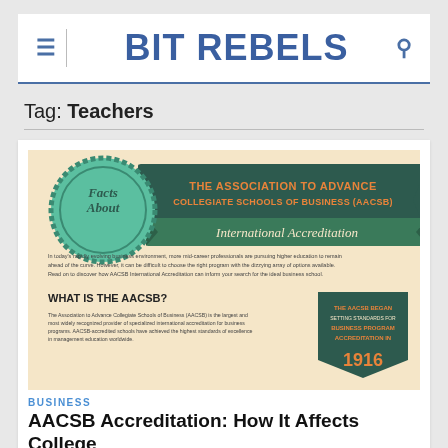BIT REBELS
Tag: Teachers
[Figure (infographic): Infographic titled 'Facts About THE ASSOCIATION TO ADVANCE COLLEGIATE SCHOOLS OF BUSINESS (AACSB) International Accreditation'. Contains intro text about mid-career professionals and higher education, and a section titled 'WHAT IS THE AACSB?' describing it as the largest and most widely recognized provider of specialized international accreditation for business programs. A badge on the right states 'THE AACSB BEGAN SETTING STANDARDS FOR BUSINESS PROGRAM ACCREDITATION IN 1916'.]
BUSINESS
AACSB Accreditation: How It Affects College Education [Infographic]